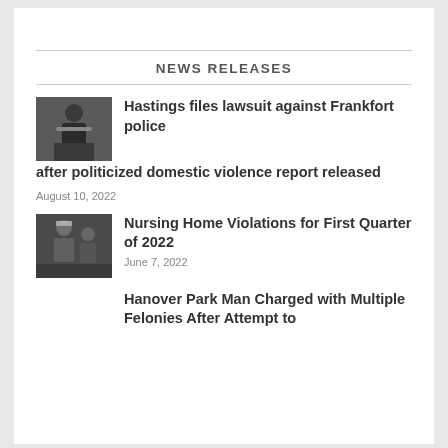NEWS RELEASES
[Figure (photo): Black and white photo of a man in a suit at a podium or desk]
Hastings files lawsuit against Frankfort police after politicized domestic violence report released
August 10, 2022
[Figure (photo): Black and white photo of two people, appears to be a nurse and patient or two individuals]
Nursing Home Violations for First Quarter of 2022
June 7, 2022
Hanover Park Man Charged with Multiple Felonies After Attempt to